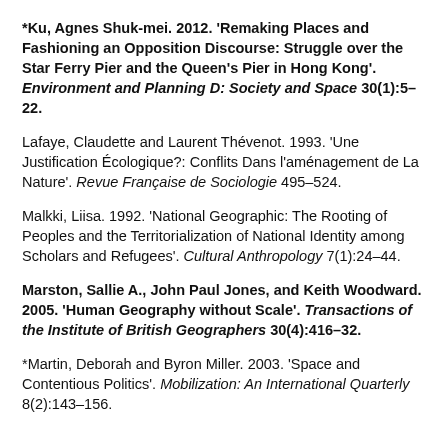*Ku, Agnes Shuk-mei. 2012. 'Remaking Places and Fashioning an Opposition Discourse: Struggle over the Star Ferry Pier and the Queen's Pier in Hong Kong'. Environment and Planning D: Society and Space 30(1):5–22.
Lafaye, Claudette and Laurent Thévenot. 1993. 'Une Justification Écologique?: Conflits Dans l'aménagement de La Nature'. Revue Française de Sociologie 495–524.
Malkki, Liisa. 1992. 'National Geographic: The Rooting of Peoples and the Territorialization of National Identity among Scholars and Refugees'. Cultural Anthropology 7(1):24–44.
Marston, Sallie A., John Paul Jones, and Keith Woodward. 2005. 'Human Geography without Scale'. Transactions of the Institute of British Geographers 30(4):416–32.
*Martin, Deborah and Byron Miller. 2003. 'Space and Contentious Politics'. Mobilization: An International Quarterly 8(2):143–156.